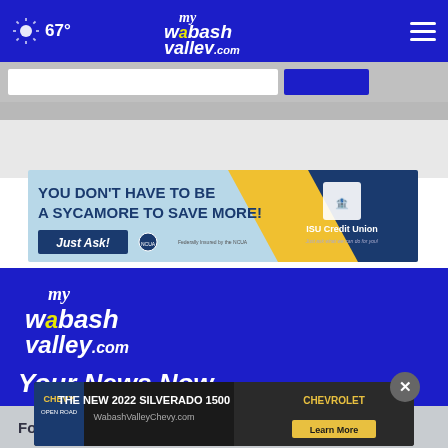67° myWabashValley.com
[Figure (screenshot): ISU Credit Union advertisement: 'YOU DON'T HAVE TO BE A SYCAMORE TO SAVE MORE! Just Ask!' with ISU Credit Union logo]
[Figure (logo): myWabashValley.com logo in white on blue background]
Your News Now
[Figure (screenshot): Chevrolet advertisement: 'THE NEW 2022 SILVERADO 1500' with Chevy Open Road branding and WabashValleyChevy.com, Learn More button]
Follow